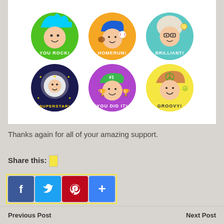[Figure (illustration): Six colorful circular sticker designs arranged in two rows of three. Top row: green circle 'YOU ROCK!', orange circle 'HOMERUN!', teal circle 'BRILLIANT!'. Bottom row: dark navy circle 'SUPERSTAR!', purple circle 'YOU DID IT!', yellow circle 'GROOVY!' Each sticker features a cartoon character face with a themed hat or hair.]
Thanks again for all of your amazing support.
Share this:
[Figure (infographic): Social sharing buttons: Facebook (blue), Twitter (blue), Pinterest (red), and a plus/more button (blue), outlined with a yellow border.]
Previous Post    Next Post